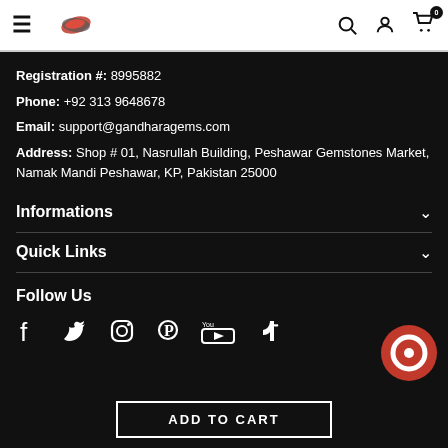Gandharagem store header with logo, search, account, cart (0)
Registration #: 8995882
Phone: +92 313 9648678
Email: support@gandharagems.com
Address: Shop # 01, Nasrullah Building, Peshawar Gemstones Market, Namak Mandi Peshawar, KP, Pakistan 25000
Informations
Quick Links
Follow Us
[Figure (other): Social media icons: Facebook, Twitter, Instagram, Pinterest, YouTube, TikTok]
ADD TO CART